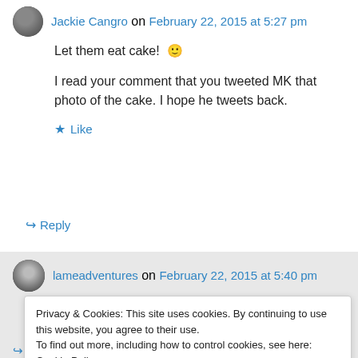Jackie Cangro on February 22, 2015 at 5:27 pm
Let them eat cake! 🙂
I read your comment that you tweeted MK that photo of the cake. I hope he tweets back.
★ Like
↪ Reply
lameadventures on February 22, 2015 at 5:40 pm
↪ Reply
Privacy & Cookies: This site uses cookies. By continuing to use this website, you agree to their use.
To find out more, including how to control cookies, see here: Cookie Policy
Close and accept